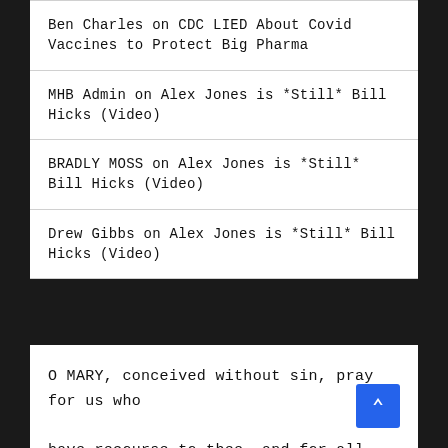Ben Charles on CDC LIED About Covid Vaccines to Protect Big Pharma
MHB Admin on Alex Jones is *Still* Bill Hicks (Video)
BRADLY MOSS on Alex Jones is *Still* Bill Hicks (Video)
Drew Gibbs on Alex Jones is *Still* Bill Hicks (Video)
O MARY, conceived without sin, pray for us who have recourse to thee, and for all who do not have recourse to thee, especially for the